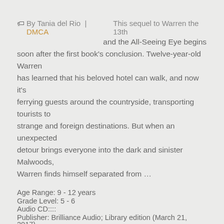🏷 By Tania del Rio | DMCA   This sequel to Warren the 13th and the All-Seeing Eye begins soon after the first book's conclusion. Twelve-year-old Warren has learned that his beloved hotel can walk, and now it's ferrying guests around the countryside, transporting tourists to strange and foreign destinations. But when an unexpected detour brings everyone into the dark and sinister Malwoods, Warren finds himself separated from …
Age Range: 9 - 12 years
Grade Level: 5 - 6
Audio CD::::
Publisher: Brilliance Audio; Library edition (March 21, 2017)
Language: English
ISBN-10: 1511322829
ISBN-13: 978-1511322829
Product Dimensions: 6.5 x 0.6 x 5.5 inches
Format: PDF ePub TXT book